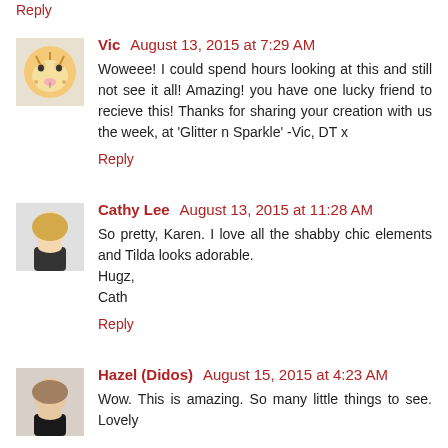Reply
Vic  August 13, 2015 at 7:29 AM
Woweee! I could spend hours looking at this and still not see it all! Amazing! you have one lucky friend to recieve this! Thanks for sharing your creation with us the week, at 'Glitter n Sparkle' -Vic, DT x
Reply
Cathy Lee  August 13, 2015 at 11:28 AM
So pretty, Karen. I love all the shabby chic elements and Tilda looks adorable.
Hugz,
Cath
Reply
Hazel (Didos)  August 15, 2015 at 4:23 AM
Wow. This is amazing. So many little things to see. Lovely